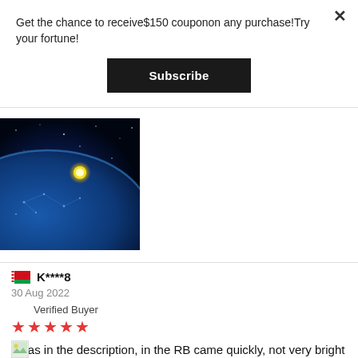Get the chance to receive$150 couponon any purchase!Try your fortune!
[Figure (screenshot): Black Subscribe button]
[Figure (photo): Dark space image with glowing blue planet and yellow star]
K****8
30 Aug 2022
Verified Buyer
★★★★★
All as in the description, in the RB came quickly, not very bright as I would like
[Figure (photo): Small thumbnail image icon]